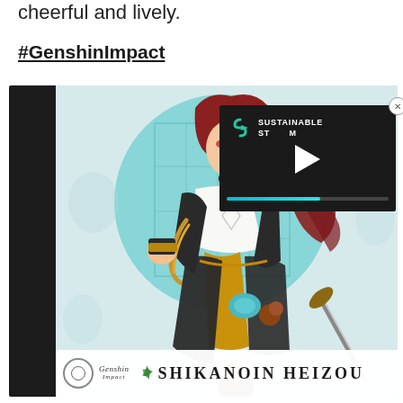cheerful and lively.
#GenshinImpact
[Figure (illustration): Genshin Impact promotional image of Shikanoin Heizou character, a male anime character with long red hair wearing black and white martial arts outfit with gold-detailed black arm guards, posed dynamically on a light teal background with large circle motif and grid window design. Black sidebar on left. Bottom banner shows SHIKANOIN HEIZOU title with Genshin Impact logo.]
[Figure (screenshot): Video player overlay with dark background showing Sustainable Stream logo (teal S with play triangle) and white play button with teal progress bar at bottom. Close X button at top right.]